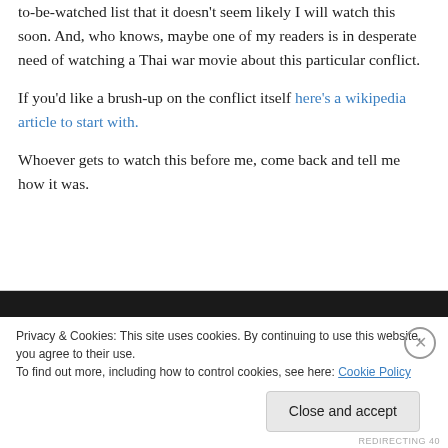to-be-watched list that it doesn't seem likely I will watch this soon. And, who knows, maybe one of my readers is in desperate need of watching a Thai war movie about this particular conflict.
If you'd like a brush-up on the conflict itself here's a wikipedia article to start with.
Whoever gets to watch this before me, come back and tell me how it was.
Privacy & Cookies: This site uses cookies. By continuing to use this website, you agree to their use. To find out more, including how to control cookies, see here: Cookie Policy
Close and accept
REDIRECTING 40